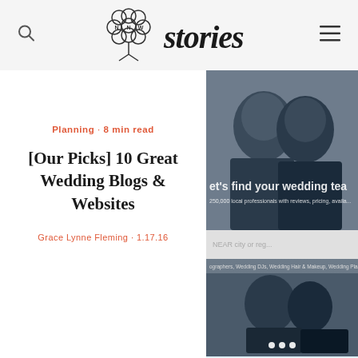NNW stories — navigation header with search and menu icons
Planning · 8 min read
[Our Picks] 10 Great Wedding Blogs & Websites
Grace Lynne Fleming · 1.17.16
[Figure (screenshot): Screenshot of WeddingWire website showing a couple touching foreheads with text "let's find your wedding tea" and "250,000 local professionals with reviews, pricing, availa..." plus a search bar, category tags, carousel dots, and a notification bar reading "Meet, hire or review your vendors to collect entries to the WeddingWire Rewards sweepstakes."]